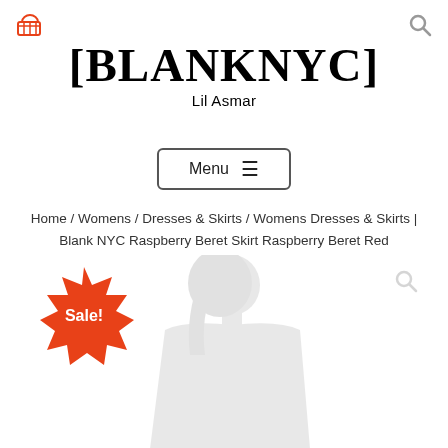[BLANKNYC] Lil Asmar
Menu ☰
Home / Womens / Dresses & Skirts / Womens Dresses & Skirts | Blank NYC Raspberry Beret Skirt Raspberry Beret Red
[Figure (photo): Sale badge starburst in red with white text 'Sale!' and a faded product photo of a female model wearing a dark top, shown from waist up against a white background.]